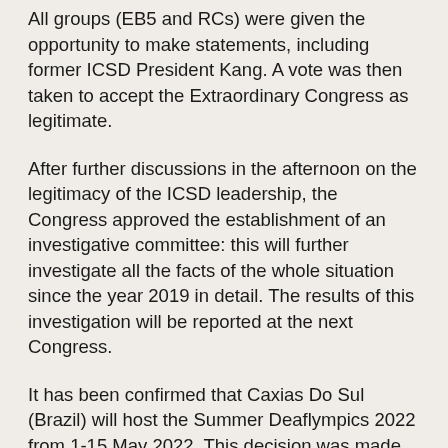All groups (EB5 and RCs) were given the opportunity to make statements, including former ICSD President Kang. A vote was then taken to accept the Extraordinary Congress as legitimate.
After further discussions in the afternoon on the legitimacy of the ICSD leadership, the Congress approved the establishment of an investigative committee: this will further investigate all the facts of the whole situation since the year 2019 in detail. The results of this investigation will be reported at the next Congress.
It has been confirmed that Caxias Do Sul (Brazil) will host the Summer Deaflympics 2022 from 1-15 May 2022. This decision was made by the Brazilian Deaf Sports Federation and accepted by the Congress.
There was also a video presentation for the